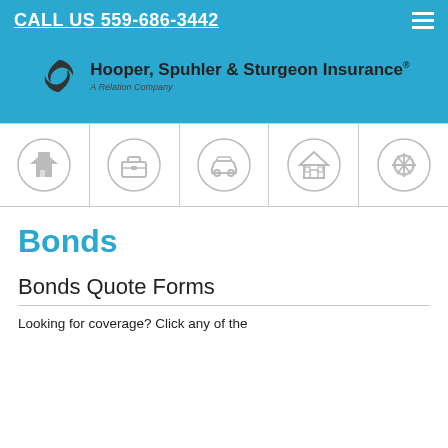CALL US 559-686-3442
[Figure (logo): Hooper, Spuhler & Sturgeon Insurance logo with two interlocking arrows icon and tagline 'A Relation Company']
[Figure (infographic): Five circular icon navigation buttons: farm/barn, briefcase, car, house, medical star of life]
Bonds
Bonds Quote Forms
Looking for coverage? Click any of the